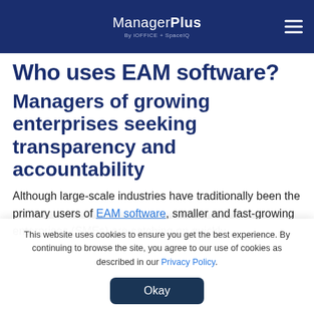ManagerPlus By iOFFICE + SpaceIQ
Who uses EAM software?
Managers of growing enterprises seeking transparency and accountability
Although large-scale industries have traditionally been the primary users of EAM software, smaller and fast-growing enterprises (SMEs) are catching on quickly.
This website uses cookies to ensure you get the best experience. By continuing to browse the site, you agree to our use of cookies as described in our Privacy Policy.